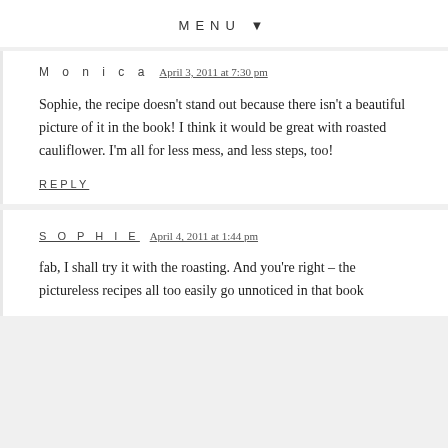MENU ▼
M o n i c a   April 3, 2011 at 7:30 pm
Sophie, the recipe doesn't stand out because there isn't a beautiful picture of it in the book! I think it would be great with roasted cauliflower. I'm all for less mess, and less steps, too!
REPLY
SOPHIE   April 4, 2011 at 1:44 pm
fab, I shall try it with the roasting. And you're right – the pictureless recipes all too easily go unnoticed in that book